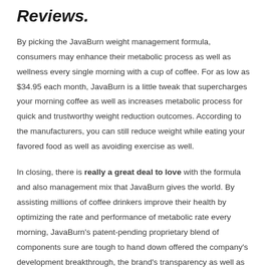Reviews.
By picking the JavaBurn weight management formula, consumers may enhance their metabolic process as well as wellness every single morning with a cup of coffee. For as low as $34.95 each month, JavaBurn is a little tweak that supercharges your morning coffee as well as increases metabolic process for quick and trustworthy weight reduction outcomes. According to the manufacturers, you can still reduce weight while eating your favored food as well as avoiding exercise as well.
In closing, there is really a great deal to love with the formula and also management mix that JavaBurn gives the world. By assisting millions of coffee drinkers improve their health by optimizing the rate and performance of metabolic rate every morning, JavaBurn's patent-pending proprietary blend of components sure are tough to hand down offered the company's development breakthrough, the brand's transparency as well as product's formula. Appropriate with any kind of type of dark roast, tool roast or light roast coffee blend